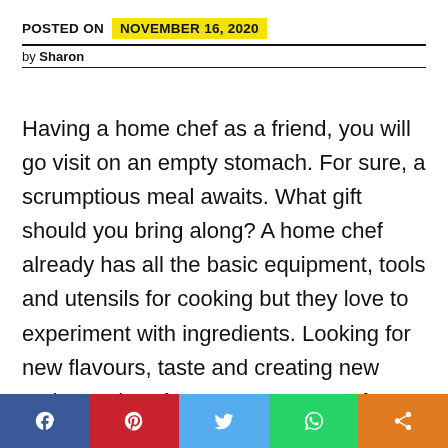POSTED ON  NOVEMBER 16, 2020
by Sharon
Having a home chef as a friend, you will go visit on an empty stomach. For sure, a scrumptious meal awaits. What gift should you bring along? A home chef already has all the basic equipment, tools and utensils for cooking but they love to experiment with ingredients. Looking for new flavours, taste and creating new recipes. Therefore, I suggest you give the gift of flavor. No matter you are invited to
[Figure (infographic): Social media share bar with Facebook, Pinterest, Twitter, WhatsApp, and Share buttons]